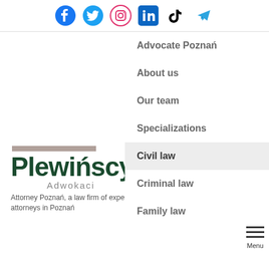[Figure (other): Social media icons row: Facebook, Twitter, Instagram, LinkedIn, TikTok, Telegram]
Advocate Poznań
About us
Our team
Specializations
Civil law
Criminal law
Family law
[Figure (logo): Plewińscy Adwokaci logo with decorative bar, large dark green bold text 'Plewińscy', subtitle 'Adwokaci', tagline 'Attorney Poznań, a law firm of experienced attorneys in Poznań']